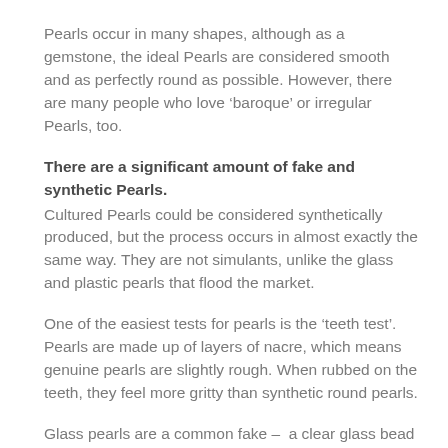occur as round Pearls.
Pearls occur in many shapes, although as a gemstone, the ideal Pearls are considered smooth and as perfectly round as possible. However, there are many people who love ‘baroque’ or irregular Pearls, too.
There are a significant amount of fake and synthetic Pearls.
Cultured Pearls could be considered synthetically produced, but the process occurs in almost exactly the same way. They are not simulants, unlike the glass and plastic pearls that flood the market.
One of the easiest tests for pearls is the ‘teeth test’. Pearls are made up of layers of nacre, which means genuine pearls are slightly rough. When rubbed on the teeth, they feel more gritty than synthetic round pearls.
Glass pearls are a common fake –  a clear glass bead coated with a pearlescent substance. It often rubs or